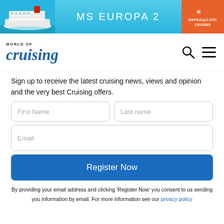[Figure (illustration): MS Europa 2 advertisement banner with cruise ship image on left, text 'MS EUROPA 2' in center on light blue background, and Hapag-Lloyd Cruises logo on orange background on right]
[Figure (logo): World of Cruising logo with italic blue serif text and navigation icons (search and hamburger menu)]
Sign up to receive the latest cruising news, views and opinion and the very best Cruising offers.
First Name
Last name
Email
Register Now
By providing your email address and clicking 'Register Now' you consent to us sending you information by email. For more information see our privacy policy